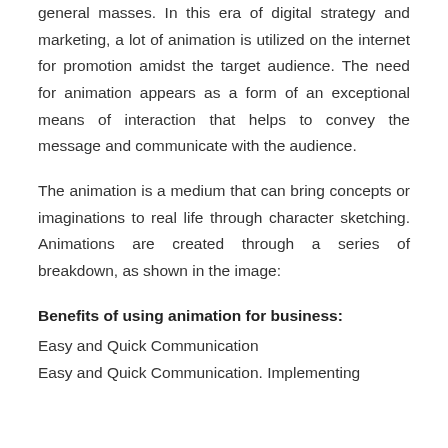general masses. In this era of digital strategy and marketing, a lot of animation is utilized on the internet for promotion amidst the target audience. The need for animation appears as a form of an exceptional means of interaction that helps to convey the message and communicate with the audience.
The animation is a medium that can bring concepts or imaginations to real life through character sketching. Animations are created through a series of breakdown, as shown in the image:
Benefits of using animation for business:
Easy and Quick Communication
Easy and Quick Communication. Implementing